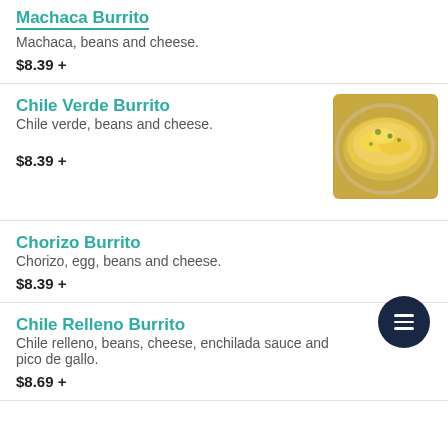Machaca Burrito
Machaca, beans and cheese.
$8.39 +
Chile Verde Burrito
Chile verde, beans and cheese.
$8.39 +
[Figure (photo): Photo of Chile Verde Burrito — a burrito covered in green chile sauce and melted yellow cheese on a plate]
Chorizo Burrito
Chorizo, egg, beans and cheese.
$8.39 +
Chile Relleno Burrito
Chile relleno, beans, cheese, enchilada sauce and pico de gallo.
$8.69 +